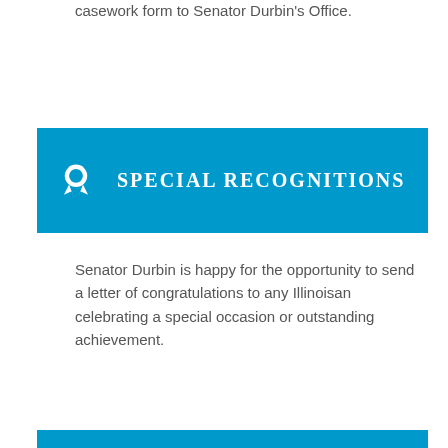casework form to Senator Durbin's Office.
SPECIAL RECOGNITIONS
Senator Durbin is happy for the opportunity to send a letter of congratulations to any Illinoisan celebrating a special occasion or outstanding achievement.